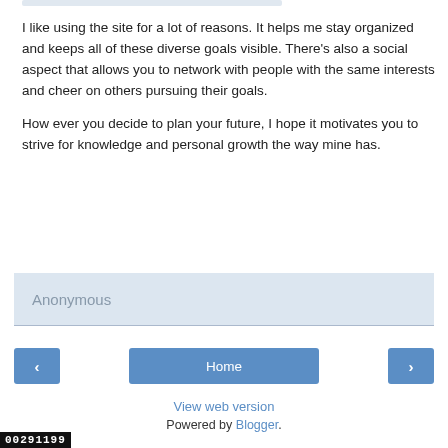I like using the site for a lot of reasons. It helps me stay organized and keeps all of these diverse goals visible. There's also a social aspect that allows you to network with people with the same interests and cheer on others pursuing their goals.

How ever you decide to plan your future, I hope it motivates you to strive for knowledge and personal growth the way mine has.
Anonymous
Home
View web version
Powered by Blogger.
00291199